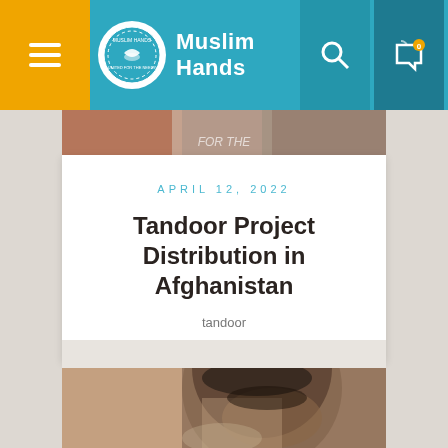Muslim Hands
[Figure (photo): Top partial photo showing people, partially cropped at top with text 'FOR THE' visible]
APRIL 12, 2022
Tandoor Project Distribution in Afghanistan
tandoor
[Figure (photo): Portrait photo of a young man with styled hair, close-up shot]